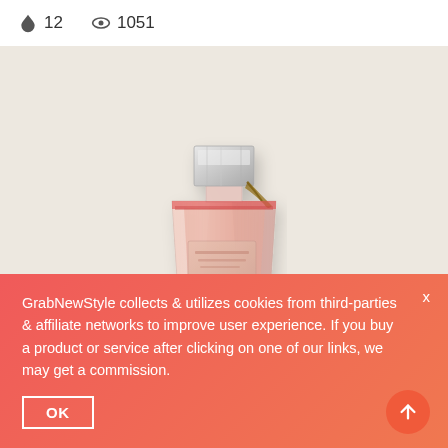🔥 12   👁 1051
[Figure (photo): A pink glass perfume bottle with a crystal-clear square stopper and decorative ribbon, photographed on a warm beige/cream background]
GrabNewStyle collects & utilizes cookies from third-parties & affiliate networks to improve user experience. If you buy a product or service after clicking on one of our links, we may get a commission.
OK
x